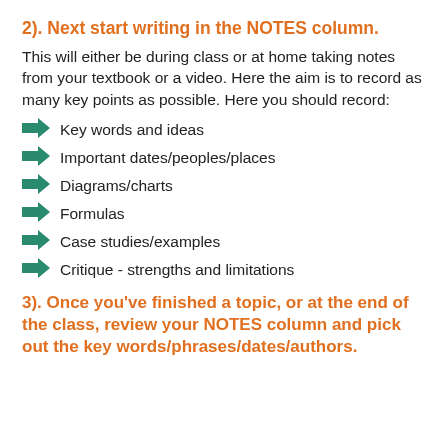2). Next start writing in the NOTES column.
This will either be during class or at home taking notes from your textbook or a video. Here the aim is to record as many key points as possible. Here you should record:
Key words and ideas
Important dates/peoples/places
Diagrams/charts
Formulas
Case studies/examples
Critique - strengths and limitations
3). Once you've finished a topic, or at the end of the class, review your NOTES column and pick out the key words/phrases/dates/authors.